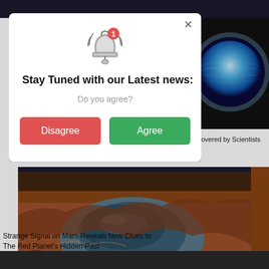[Figure (screenshot): Website background showing dark header bar at top, a blue planet/sphere image in the top right, and a Mars crater landscape image in the lower portion of the page]
[Figure (infographic): Browser notification permission modal dialog with a bell icon with red badge '1', title 'Stay Tuned with our Latest news:', subtitle 'Do you agree?', a red 'Disagree' button and a green 'Agree' button, with an X close button in the top right]
scovered by Scientists
Strange Signal on Mars Reveals New Clues to The Red Planet's Hidden Past